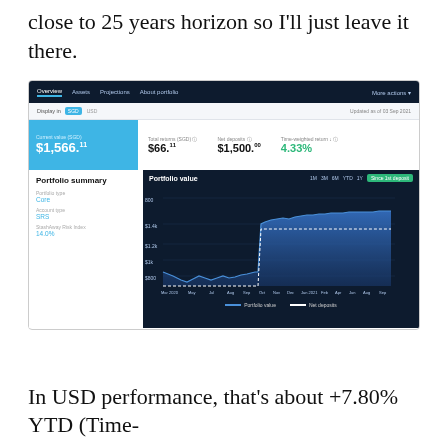close to 25 years horizon so I'll just leave it there.
[Figure (screenshot): StashAway portfolio dashboard screenshot showing current value SGD $1,566.11, total returns SGD $66.11, net deposits $1,500.00, time-weighted return 4.33%, with a portfolio value area chart over time since first deposit showing growth from Mar 2020 to Sep 2021.]
In USD performance, that's about +7.80% YTD (Time-